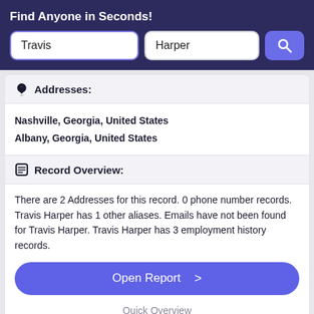Find Anyone in Seconds!
Travis | Harper
Addresses:
Nashville, Georgia, United States
Albany, Georgia, United States
Record Overview:
There are 2 Addresses for this record. 0 phone number records. Travis Harper has 1 other aliases. Emails have not been found for Travis Harper. Travis Harper has 3 employment history records.
Open Report >
Quick Overview
Travis Harper